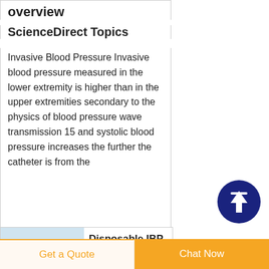overview
ScienceDirect Topics
Invasive Blood Pressure Invasive blood pressure measured in the lower extremity is higher than in the upper extremities secondary to the physics of blood pressure wave transmission 15 and systolic blood pressure increases the further the catheter is from the
[Figure (illustration): Dark blue circular button with white upward arrow icon (scroll to top button)]
[Figure (photo): Small product image of a disposable IBP transducer device]
Disposable IBP transducer
Get a Quote
Chat Now